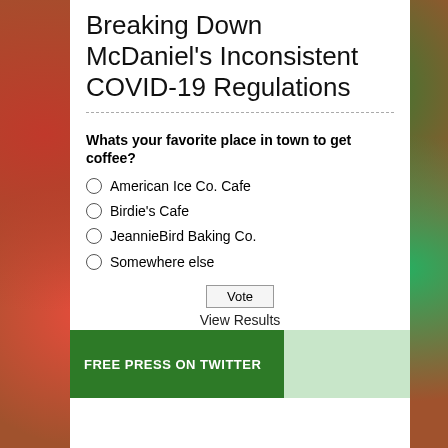Breaking Down McDaniel's Inconsistent COVID-19 Regulations
Whats your favorite place in town to get coffee?
American Ice Co. Cafe
Birdie's Cafe
JeannieBird Baking Co.
Somewhere else
Vote
View Results
FREE PRESS ON TWITTER